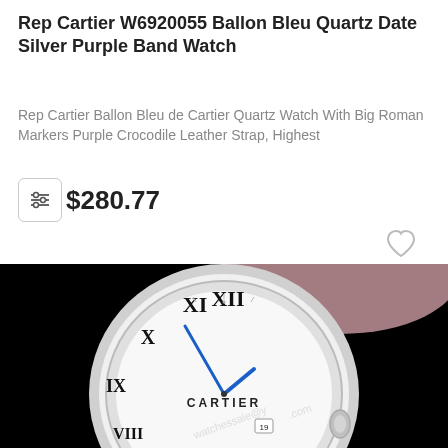Rep Cartier W6920055 Ballon Bleu Quartz Date Silver Purple Band Watch
Rep Cartier Ballon Bleu de Cartier Quartz Watch With Big Roman Markers Purple Crocodile Leather Strap, Highest
$280.77
[Figure (photo): Close-up photo of a Cartier Ballon Bleu watch with white dial showing Roman numerals, blue hands, and CARTIER branding, on a pink/purple strap against a black background. A watermark reads 'watchessale@y...com'. Facebook and Skype social buttons are visible on the right side.]